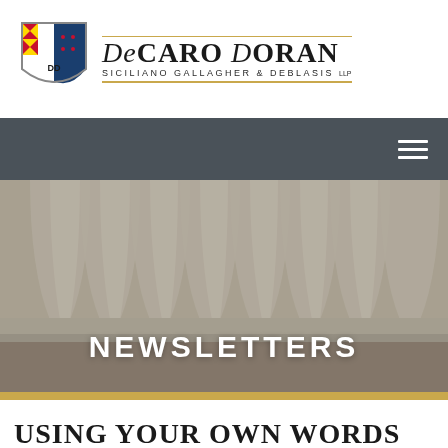[Figure (logo): DeCaro Doran Siciliano Gallagher & DeBlasis LLP law firm logo with shield emblem and firm name]
[Figure (photo): Close-up photograph of white marble architectural columns or fluted stone pilasters]
NEWSLETTERS
USING YOUR OWN WORDS